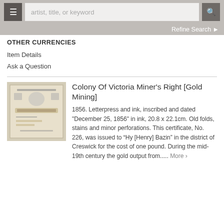artist, title, or keyword
Refine Search
OTHER CURRENCIES
Item Details
Ask a Question
[Figure (photo): Photograph of a Colony of Victoria Miner's Right document, showing letterpress text including 'MINER'S RIGHT' with decorative elements.]
Colony Of Victoria Miner’s Right [Gold Mining]
1856. Letterpress and ink, inscribed and dated "December 25, 1856" in ink, 20.8 x 22.1cm. Old folds, stains and minor perforations. This certificate, No. 226, was issued to “Hy [Henry] Bazin” in the district of Creswick for the cost of one pound. During the mid-19th century the gold output from..... More ›